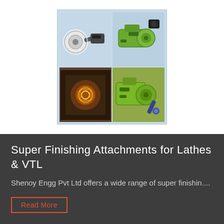[Figure (photo): A 2x2 grid collage of industrial super finishing attachments for lathes and VTL machines. Top-left shows a grinding/polishing tool attachment. Top-right shows a green industrial machine part. Bottom-left shows a lathe operation in progress (dark/orange tones). Bottom-right shows a green machine attachment tool. The grid is set against a light blue background with small caption text under each image.]
Super Finishing Attachments for Lathes & VTL
Shenoy Engg Pvt Ltd offers a wide range of super finishin....